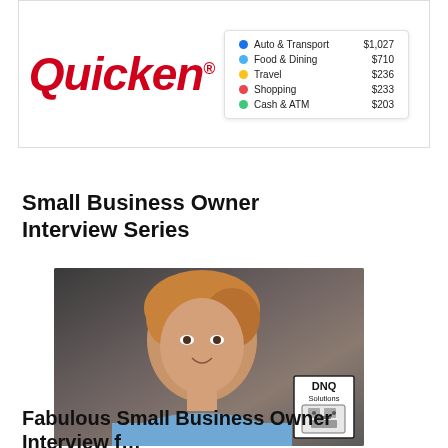[Figure (screenshot): Quicken software logo on the left and an expense category list on the right showing: Auto & Transport $1,027, Food & Dining $710, Travel $236, Shopping $233, Cash & ATM $203]
Small Business Owner Interview Series
[Figure (photo): Professional headshot of a woman smiling, wearing a light blue top, with a DNQ Solutions logo/badge in the lower right corner of the photo]
Fabulous Small Business Owner Interview featuring Diane Quick